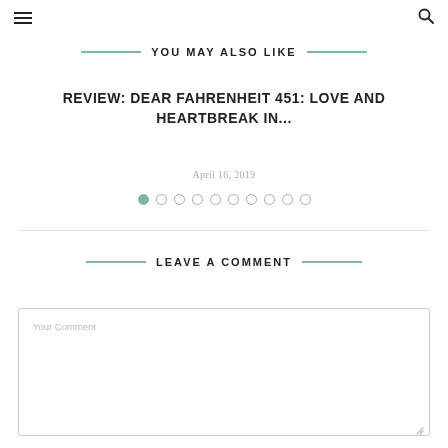☰ [menu icon]   🔍 [search icon]
YOU MAY ALSO LIKE
REVIEW: DEAR FAHRENHEIT 451: LOVE AND HEARTBREAK IN...
April 16, 2019
[Figure (other): Pagination dots: 10 circles, first one filled/active in teal, rest outlined in grey]
LEAVE A COMMENT
Your Comment